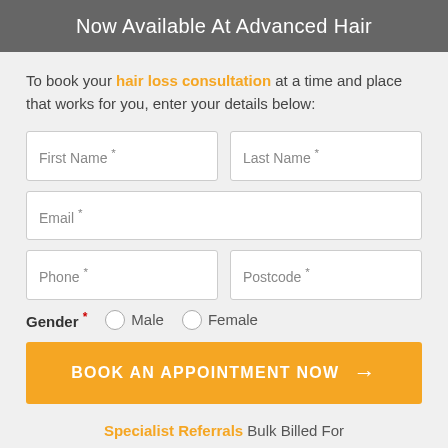Now Available At Advanced Hair
To book your hair loss consultation at a time and place that works for you, enter your details below:
[Figure (other): Web form with fields: First Name, Last Name, Email, Phone, Postcode, Gender (radio: Male, Female), and a Book An Appointment Now button]
Specialist Referrals Bulk Billed For